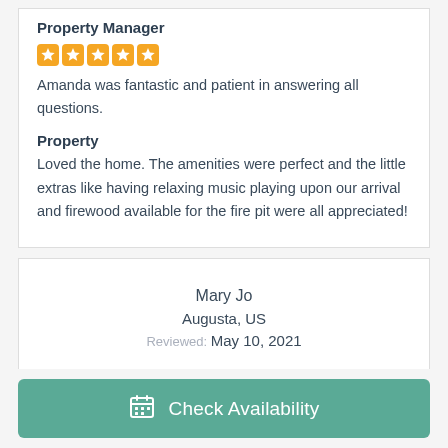Property Manager
[Figure (other): 5 orange star rating icons in a row]
Amanda was fantastic and patient in answering all questions.
Property
Loved the home. The amenities were perfect and the little extras like having relaxing music playing upon our arrival and firewood available for the fire pit were all appreciated!
Mary Jo
Augusta, US
Reviewed: May 10, 2021
Property Manager
Check Availability